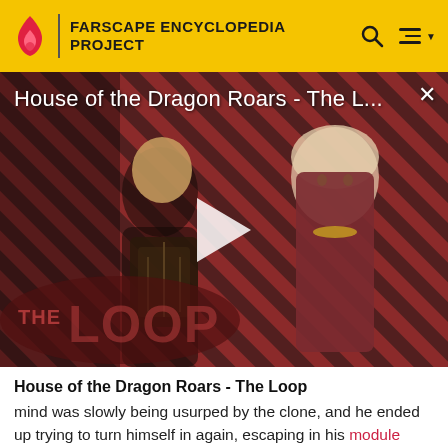FARSCAPE ENCYCLOPEDIA PROJECT
[Figure (screenshot): Video thumbnail for 'House of the Dragon Roars - The L...' showing two characters against a diagonal red and black striped background with a play button overlay and 'THE LOOP' logo in the lower left.]
House of the Dragon Roars - The Loop
mind was slowly being usurped by the clone, and he ended up trying to turn himself in again, escaping in his module after he and Aeryn had finally confessed their feelings for one another. Aeryn pursued him in her